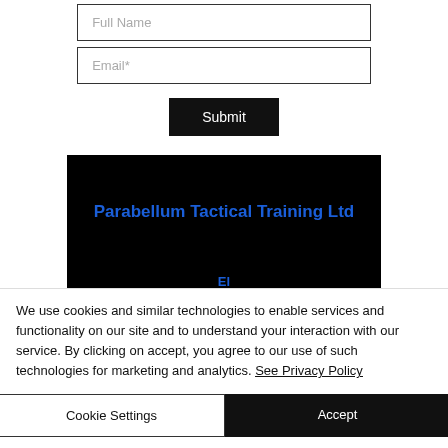Full Name
Email*
Submit
[Figure (screenshot): Black background panel showing 'Parabellum Tactical Training Ltd' in bold blue text, with a partial blue element visible at the bottom]
×
We use cookies and similar technologies to enable services and functionality on our site and to understand your interaction with our service. By clicking on accept, you agree to our use of such technologies for marketing and analytics. See Privacy Policy
Cookie Settings
Accept